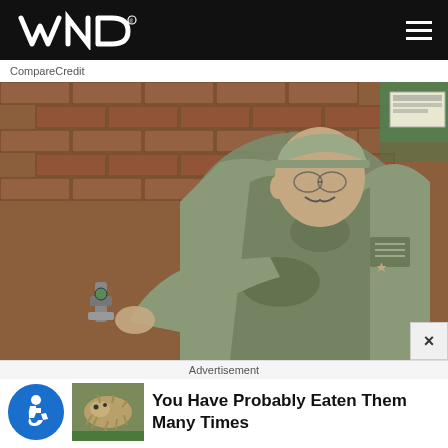WND
CompareCredit
[Figure (photo): A military serviceman in camouflage uniform and cap leaning against a brick wall, working on a pipe or valve fixture mounted on the wall]
Advertisement
[Figure (photo): Small microscopic creature (tardigrade/water bear) thumbnail image]
You Have Probably Eaten Them Many Times